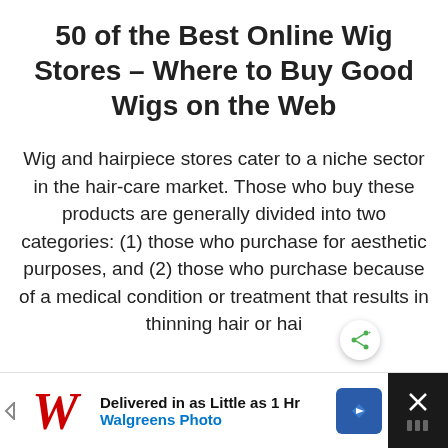50 of the Best Online Wig Stores – Where to Buy Good Wigs on the Web
Wig and hairpiece stores cater to a niche sector in the hair-care market. Those who buy these products are generally divided into two categories: (1) those who purchase for aesthetic purposes, and (2) those who purchase because of a medical condition or treatment that results in thinning hair or hai…
[Figure (other): Walgreens Photo advertisement banner: 'Delivered in as Little as 1 Hr' with Walgreens Photo logo, navigation arrow icon, and close button]